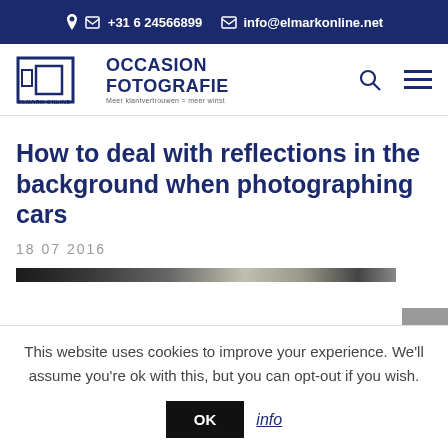+31 6 24566899   info@elmarkonline.net
[Figure (logo): Occasion Fotografie / Elmark-Online logo with geometric icon and tagline 'Meer klantvertrouwen = meer winst']
How to deal with reflections in the background when photographing cars
18 07 2016
[Figure (photo): Partial view of a car photograph, dark image strip visible at top]
This website uses cookies to improve your experience. We'll assume you're ok with this, but you can opt-out if you wish.
OK   info